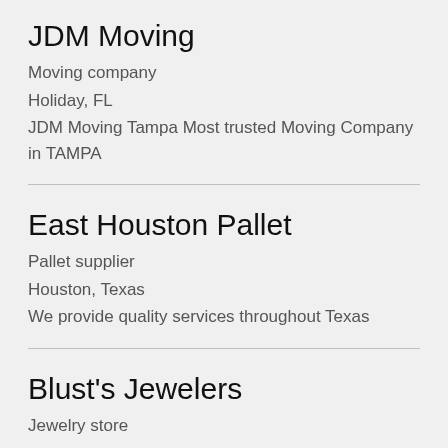JDM Moving
Moving company
Holiday, FL
JDM Moving Tampa Most trusted Moving Company in TAMPA
East Houston Pallet
Pallet supplier
Houston, Texas
We provide quality services throughout Texas
Blust's Jewelers
Jewelry store